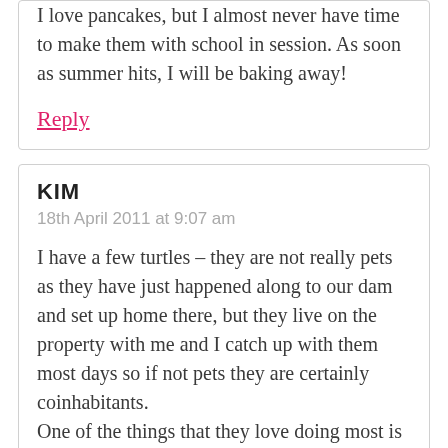I love pancakes, but I almost never have time to make them with school in session. As soon as summer hits, I will be baking away!
Reply
KIM
18th April 2011 at 9:07 am
I have a few turtles – they are not really pets as they have just happened along to our dam and set up home there, but they live on the property with me and I catch up with them most days so if not pets they are certainly coinhabitants. One of the things that they love doing most is sunbathing their heads – whenever the sun is out (particularly in the morning), they poke their